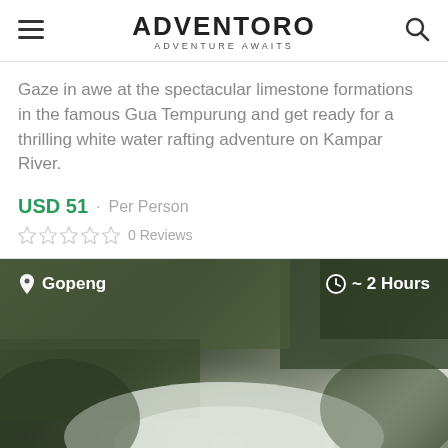ADVENTORO · ADVENTURE AWAITS
Gaze in awe at the spectacular limestone formations in the famous Gua Tempurung and get ready for a thrilling white water rafting adventure on Kampar River.
USD 51 · Per Person
0 Reviews
[Figure (photo): Blurred outdoor photo showing white water rafting or river scenery, overlaid with location tag 'Gopeng' and duration '~ 2 Hours']